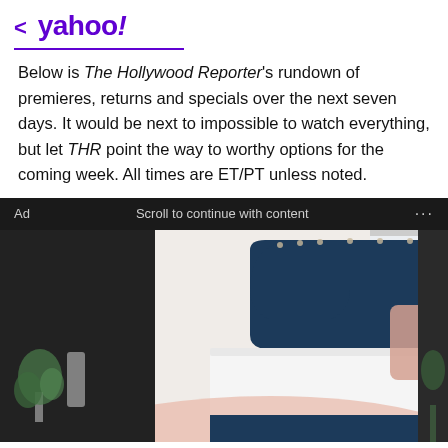< yahoo!
Below is The Hollywood Reporter's rundown of premieres, returns and specials over the next seven days. It would be next to impossible to watch everything, but let THR point the way to worthy options for the coming week. All times are ET/PT unless noted.
[Figure (photo): Advertisement banner showing a luxury bed with navy blue upholstered headboard adorned with silver nail head trim, decorative gold and pink pillows, white mattress with pink blanket draped over the corner, set in a bright white room. Dark background flanks the bed photo on both sides.]